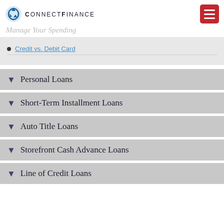ConnectFinance
Credit vs. Debit Card
Personal Loans
Short-Term Installment Loans
Auto Title Loans
Storefront Cash Advance Loans
Line of Credit Loans